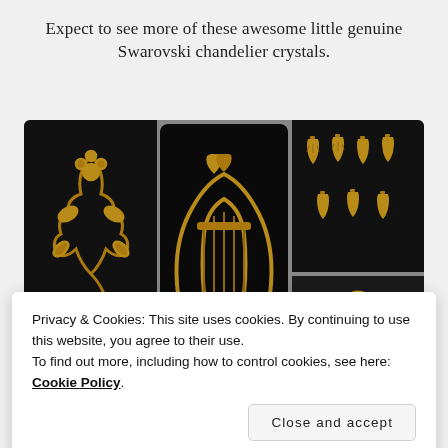Expect to see more of these awesome little genuine Swarovski chandelier crystals.
[Figure (photo): Photo collage of three panels on dark backgrounds: left panel shows a tall gold floral/vine ornament, center panel shows a gold lyre musical instrument ornament, upper right panel shows multiple small gold hand-shaped charms/pendants, lower right panel shows a close-up of a gold charm with a ring loop.]
Privacy & Cookies: This site uses cookies. By continuing to use this website, you agree to their use.
To find out more, including how to control cookies, see here: Cookie Policy
[Figure (photo): Bottom strip showing partial views of more gold ornament charms against dark backgrounds — three panels visible at bottom of page.]